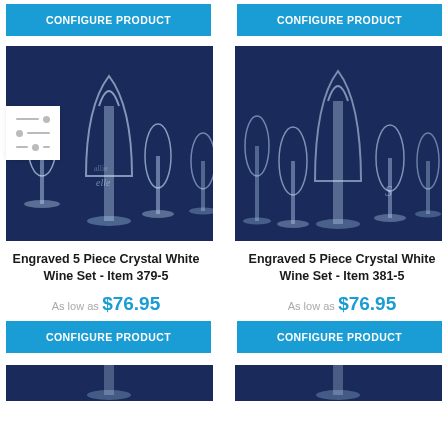[Figure (other): Blue CONFIGURE PRODUCT button (top left)]
[Figure (other): Blue CONFIGURE PRODUCT button (top right)]
[Figure (photo): Engraved 5 Piece Crystal White Wine Set product photo on dark blue background, Item 379-5]
[Figure (photo): Engraved 5 Piece Crystal White Wine Set product photo on dark blue background, Item 381-5]
Engraved 5 Piece Crystal White Wine Set - Item 379-5
Engraved 5 Piece Crystal White Wine Set - Item 381-5
As low as $76.95
As low as $76.95
[Figure (other): Blue CONFIGURE PRODUCT button (bottom left)]
[Figure (other): Blue CONFIGURE PRODUCT button (bottom right)]
[Figure (photo): Partial product image at bottom left (teaser for next row)]
[Figure (photo): Partial product image at bottom right (teaser for next row)]